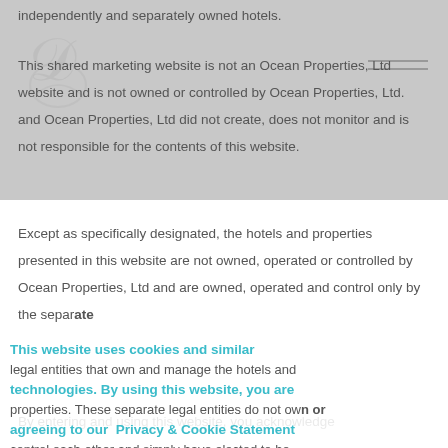independently and separately owned hotels.
This shared marketing website is not an Ocean Properties, Ltd website and is not owned or controlled by Ocean Properties, Ltd. and Ocean Properties, Ltd did not create, does not monitor and is not responsible for the contents of this website.
Except as specifically designated, the hotels and properties presented in this website are not owned, operated or controlled by Ocean Properties, Ltd and are owned, operated and control only by the separate legal entities that own and manage the hotels and properties. These separate legal entities do not own or control each other and simply have elected to be presented in this website as a group for marketing efficiency.
This website uses cookies and similar technologies. By using this website, you are agreeing to our Privacy & Cookie Statement
By entering and using this website, you acknowledge